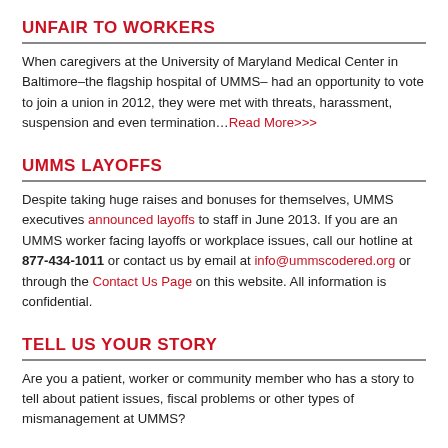UNFAIR TO WORKERS
When caregivers at the University of Maryland Medical Center in Baltimore–the flagship hospital of UMMS– had an opportunity to vote to join a union in 2012, they were met with threats, harassment, suspension and even termination…Read More>>>
UMMS LAYOFFS
Despite taking huge raises and bonuses for themselves, UMMS executives announced layoffs to staff in June 2013. If you are an UMMS worker facing layoffs or workplace issues, call our hotline at 877-434-1011 or contact us by email at info@ummscodered.org or through the Contact Us Page on this website. All information is confidential.
TELL US YOUR STORY
Are you a patient, worker or community member who has a story to tell about patient issues, fiscal problems or other types of mismanagement at UMMS?